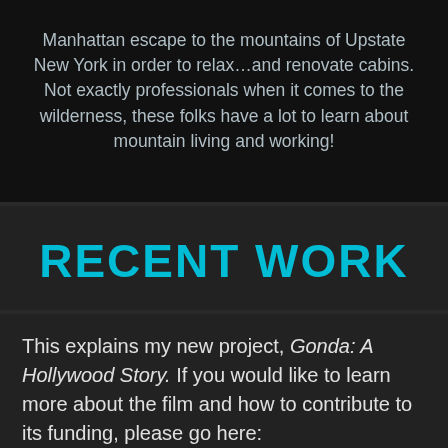Manhattan escape to the mountains of Upstate New York in order to relax…and renovate cabins. Not exactly professionals when it comes to the wilderness, these folks have a lot to learn about mountain living and working!
RECENT WORK
This explains my new project, Gonda: A Hollywood Story. If you would like to learn more about the film and how to contribute to its funding, please go here: https://www.indiegogo.com/projects/gonda-a-hollywood-story/x/623447#/